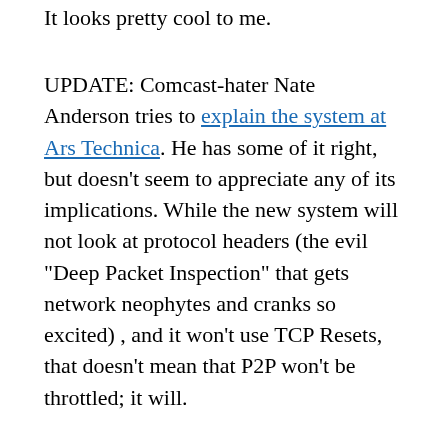It looks pretty cool to me.
UPDATE: Comcast-hater Nate Anderson tries to explain the system at Ars Technica. He has some of it right, but doesn't seem to appreciate any of its implications. While the new system will not look at protocol headers (the evil “Deep Packet Inspection” that gets network neophytes and cranks so excited) , and it won’t use TCP Resets, that doesn’t mean that P2P won’t be throttled; it will.
That’s simply because P2P contributes most of the load on residential networks. So if you throttle the heaviest users, you’re in effect throttling the heaviest P2P users, because the set of heavy users and the set of heavy P2P